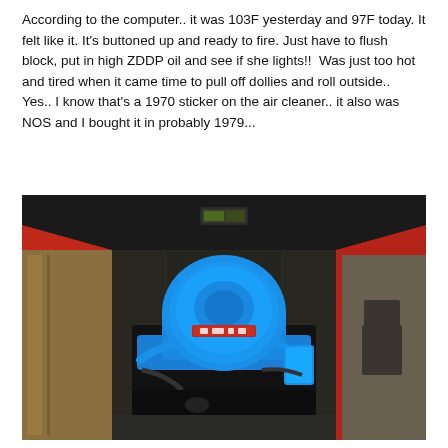According to the computer.. it was 103F yesterday and 97F today. It felt like it. It's buttoned up and ready to fire. Just have to flush block, put in high ZDDP oil and see if she lights!!  Was just too hot and tired when it came time to pull off dollies and roll outside..  Yes.. I know that's a 1970 sticker on the air cleaner.. it also was NOS and I bought it in probably 1979...
[Figure (photo): Under-hood photograph of a classic American muscle car with a bright blue engine (V8) featuring a round blue air cleaner/filter assembly, set in a black engine bay with red hood visible on the sides, taken in a garage setting.]